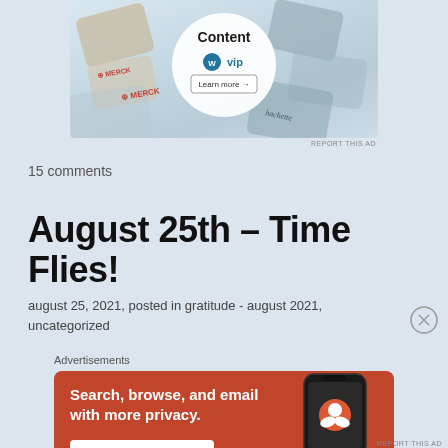[Figure (photo): Top advertisement banner showing WordPress VIP Content platform with various brand logos including Merck, Hachette, Salesforce. Shows 'Content', 'WP vip' logo, and 'Learn more →' button on a light blue/grey background with overlapping cards.]
REPORT THIS AD
15 comments
August 25th – Time Flies!
august 25, 2021, posted in gratitude - august 2021, uncategorized
Advertisements
[Figure (photo): DuckDuckGo advertisement with orange/red background. Text reads 'Search, browse, and email with more privacy. All in One Free App' with a smartphone graphic showing the DuckDuckGo logo and 'DuckDuckGo.' text.]
REPORT THIS AD